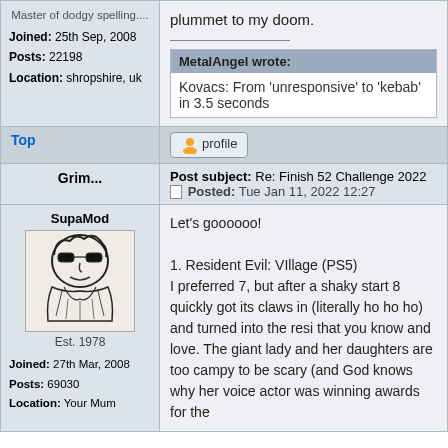Master of dodgy spelling....
Joined: 25th Sep, 2008
Posts: 22198
Location: shropshire, uk
plummet to my doom.
MetalAngel wrote:
Kovacs: From 'unresponsive' to 'kebab' in 3.5 seconds
Top
profile
Post subject: Re: Finish 52 Challenge 2022
Posted: Tue Jan 11, 2022 12:27
Grim...
SupaMod
Est. 1978
Joined: 27th Mar, 2008
Posts: 69030
Location: Your Mum
Let's goooooo!

1. Resident Evil: VIllage (PS5)
I preferred 7, but after a shaky start 8 quickly got its claws in (literally ho ho ho) and turned into the resi that you know and love. The giant lady and her daughters are too campy to be scary (and God knows why her voice actor was winning awards for the